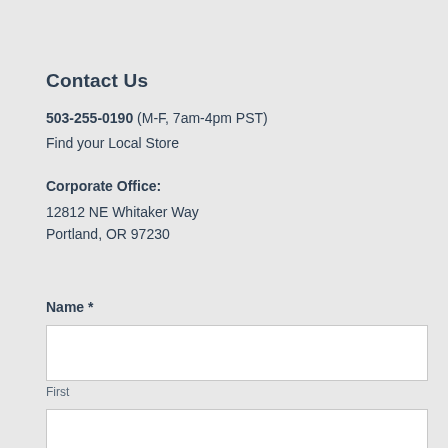Contact Us
503-255-0190 (M-F, 7am-4pm PST)
Find your Local Store
Corporate Office:
12812 NE Whitaker Way
Portland, OR 97230
Name *
First